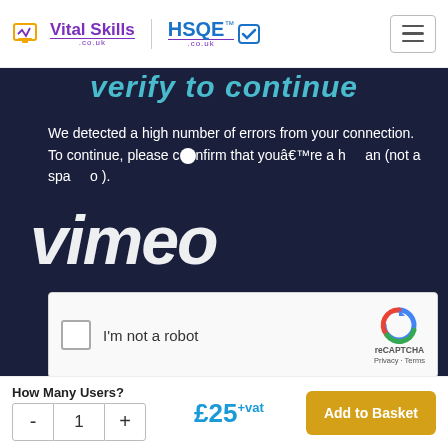Vital Skills .co.uk | HSQE .co.uk
[Figure (screenshot): Dark navy background block showing a Vimeo 'Verify to continue' CAPTCHA page. Partially visible heading 'Verify to continue' in teal italic text. Body text: 'We detected a high number of errors from your connection. To continue, please confirm that youâ€™re a human (not a spambot).' Vimeo brand name watermark in large white italic text overlaid. A reCAPTCHA widget with checkbox labeled 'I'm not a robot' and reCAPTCHA logo with Privacy and Terms links.]
We detected a high number of errors from your connection. To continue, please confirm that youâ€™re a human (not a spambot).
I'm not a robot
reCAPTCHA
Privacy - Terms
How Many Users?
£25+vat
Add to Basket